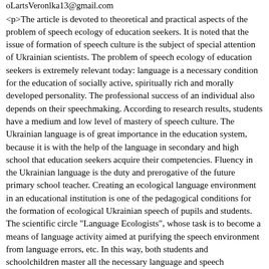oLartsVeronlka13@gmail.com
<p>The article is devoted to theoretical and practical aspects of the problem of speech ecology of education seekers. It is noted that the issue of formation of speech culture is the subject of special attention of Ukrainian scientists. The problem of speech ecology of education seekers is extremely relevant today: language is a necessary condition for the education of socially active, spiritually rich and morally developed personality. The professional success of an individual also depends on their speechmaking. According to research results, students have a medium and low level of mastery of speech culture. The Ukrainian language is of great importance in the education system, because it is with the help of the language in secondary and high school that education seekers acquire their competencies. Fluency in the Ukrainian language is the duty and prerogative of the future primary school teacher. Creating an ecological language environment in an educational institution is one of the pedagogical conditions for the formation of ecological Ukrainian speech of pupils and students. The scientific circle "Language Ecologists", whose task is to become a means of language activity aimed at purifying the speech environment from language errors, etc. In this way, both students and schoolchildren master all the necessary language and speech competencies, enrich their vocabulary and make the environment healthier.</p>
2021-10-26T00:00:00+00:00 Copyright (c) 2021
https://scijournals.pnu.edu.ua/index.php/msuc/article/view/5802
2022-02-23T13:43:20+00:00 Oksana Blayt oksanablayt@ukr.net